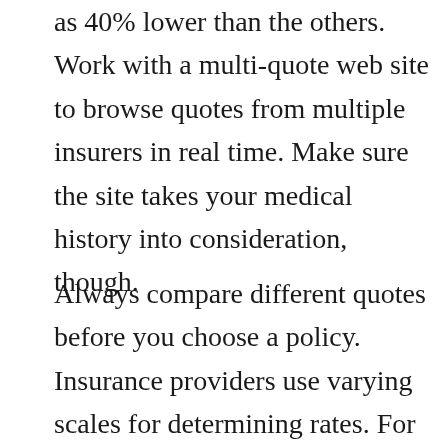Some insurers might offer premiums as much as 40% lower than the others. Work with a multi-quote web site to browse quotes from multiple insurers in real time. Make sure the site takes your medical history into consideration, though.
Always compare different quotes before you choose a policy. Insurance providers use varying scales for determining rates. For example, in the event you smoke, you will probably find your premium higher with one